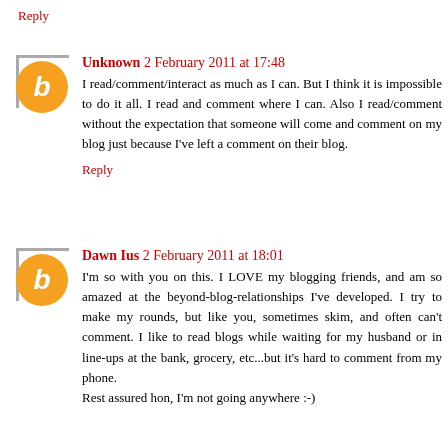Reply
Unknown 2 February 2011 at 17:48
I read/comment/interact as much as I can. But I think it is impossible to do it all. I read and comment where I can. Also I read/comment without the expectation that someone will come and comment on my blog just because I've left a comment on their blog.
Reply
Dawn Ius 2 February 2011 at 18:01
I'm so with you on this. I LOVE my blogging friends, and am so amazed at the beyond-blog-relationships I've developed. I try to make my rounds, but like you, sometimes skim, and often can't comment. I like to read blogs while waiting for my husband or in line-ups at the bank, grocery, etc...but it's hard to comment from my phone.
Rest assured hon, I'm not going anywhere :-)